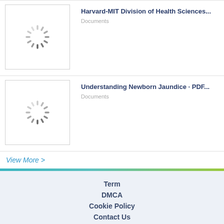[Figure (other): Loading spinner thumbnail for Harvard-MIT document]
Harvard-MIT Division of Health Sciences...
Documents
[Figure (other): Loading spinner thumbnail for Newborn Jaundice document]
Understanding Newborn Jaundice · PDF...
Documents
View More >
Term
DMCA
Cookie Policy
Contact Us
Copyright © 2018 FDOCUMENTS